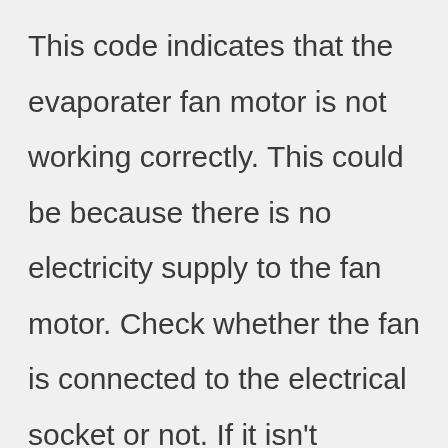This code indicates that the evaporater fan motor is not working correctly. This could be because there is no electricity supply to the fan motor. Check whether the fan is connected to the electrical socket or not. If it isn't connected to the electrical socket, connect it to the electrical